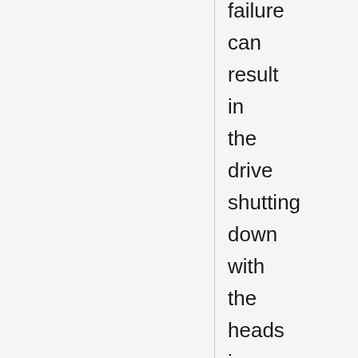failure can result in the drive shutting down with the heads in the data zone,